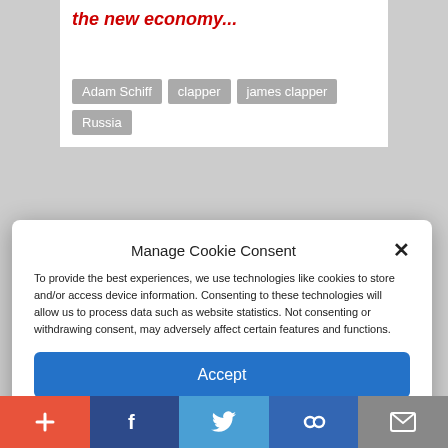the new economy...
Adam Schiff
clapper
james clapper
Russia
Manage Cookie Consent
To provide the best experiences, we use technologies like cookies to store and/or access device information. Consenting to these technologies will allow us to process data such as website statistics. Not consenting or withdrawing consent, may adversely affect certain features and functions.
Accept
Cookie Policy  Privacy Policy
LN Radio